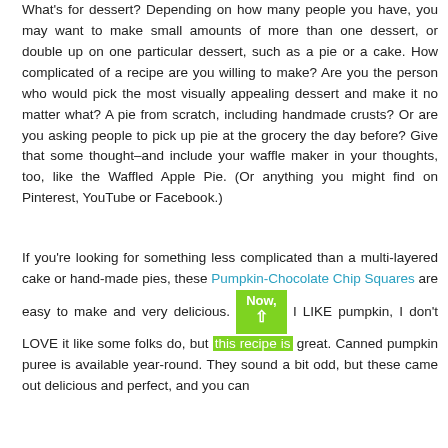What's for dessert? Depending on how many people you have, you may want to make small amounts of more than one dessert, or double up on one particular dessert, such as a pie or a cake. How complicated of a recipe are you willing to make? Are you the person who would pick the most visually appealing dessert and make it no matter what? A pie from scratch, including handmade crusts? Or are you asking people to pick up pie at the grocery the day before? Give that some thought–and include your waffle maker in your thoughts, too, like the Waffled Apple Pie. (Or anything you might find on Pinterest, YouTube or Facebook.)
If you're looking for something less complicated than a multi-layered cake or hand-made pies, these Pumpkin-Chocolate Chip Squares are easy to make and very delicious. Now, I LIKE pumpkin, I don't LOVE it like some folks do, but this recipe is great. Canned pumpkin puree is available year-round. They sound a bit odd, but these came out delicious and perfect, and you can